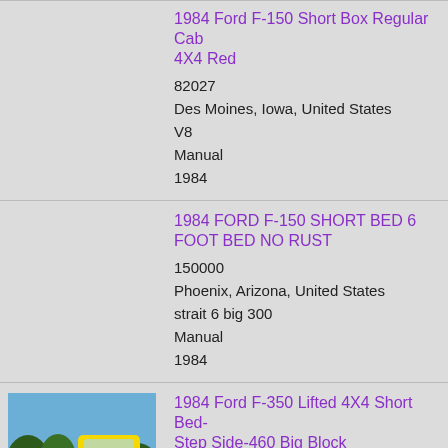1984 Ford F-150 Short Box Regular Cab 4X4 Red
82027
Des Moines, Iowa, United States
V8
Manual
1984
1984 FORD F-150 SHORT BED 6 FOOT BED NO RUST
150000
Phoenix, Arizona, United States
strait 6 big 300
Manual
1984
[Figure (photo): Yellow 1984 Ford F-350 lifted 4x4 pickup truck with large tires, photographed outdoors with trees in background]
1984 Ford F-350 Lifted 4X4 Short Bed-Step Side-460 Big Block
73000
Ocala, Florida, United States
460 Big Block